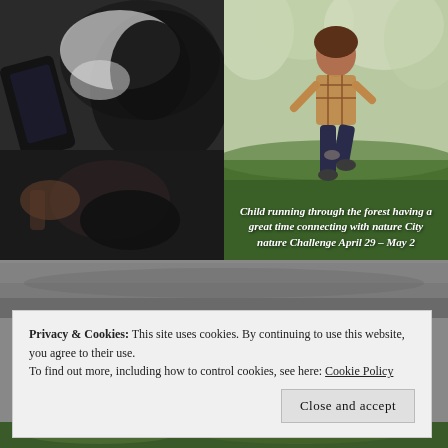[Figure (photo): Close-up photo of a hand holding a smartphone near an animal (likely a horse), showing a dark, textured close-up scene]
[Figure (photo): Child running through a forest/outdoor area with trees in background, wearing plaid shirt, with overlaid italic caption text]
Child running through the forest having a great time connecting with nature City nature Challenge April 29 – May 2
[Figure (photo): Partial gray/outdoor background photo strip]
Privacy & Cookies: This site uses cookies. By continuing to use this website, you agree to their use.
To find out more, including how to control cookies, see here: Cookie Policy